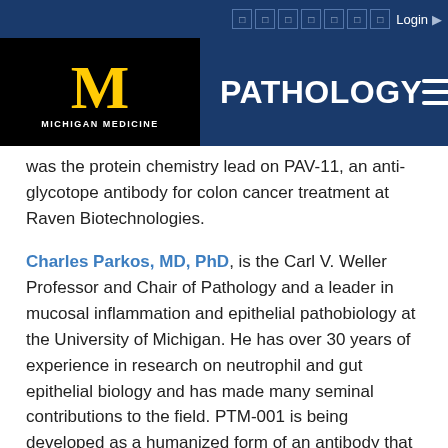PATHOLOGY — Michigan Medicine
was the protein chemistry lead on PAV-11, an anti-glycotope antibody for colon cancer treatment at Raven Biotechnologies.
Charles Parkos, MD, PhD, is the Carl V. Weller Professor and Chair of Pathology and a leader in mucosal inflammation and epithelial pathobiology at the University of Michigan. He has over 30 years of experience in research on neutrophil and gut epithelial biology and has made many seminal contributions to the field. PTM-001 is being developed as a humanized form of an antibody that was produced in Dr. Parkos' lab. Over the past two decades, he has had many leadership roles at the Crohn's & Colitis Foundation and the American Society of Investigative Pathology.